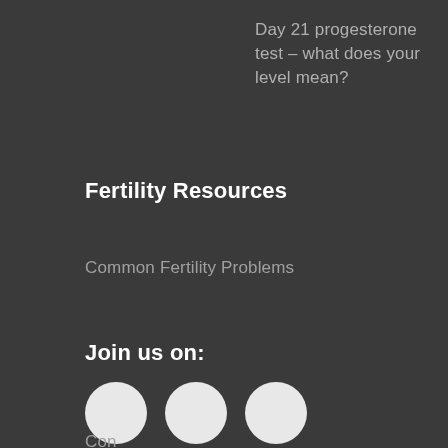Day 21 progesterone test – what does your level mean?
Fertility Resources
Common Fertility Problems
Join us on:
[Figure (other): Three white circular social media icon buttons arranged horizontally]
Contact